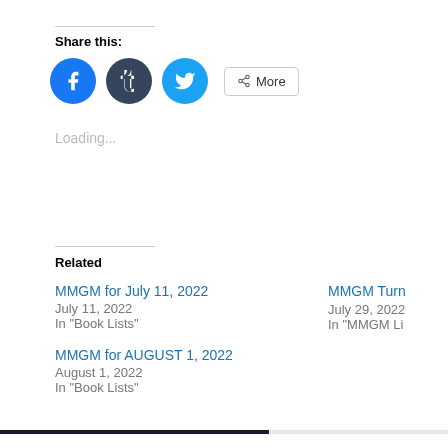Share this:
[Figure (infographic): Social share icons: Facebook (blue circle), Tumblr (dark circle), Twitter (light blue circle), and a 'More' button with share icon]
Loading...
Related
MMGM for July 11, 2022
July 11, 2022
In "Book Lists"
MMGM Turn...
July 29, 2022
In "MMGM Li..."
MMGM for AUGUST 1, 2022
August 1, 2022
In "Book Lists"